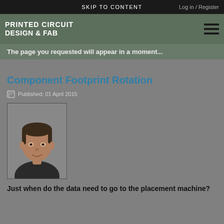SKIP TO CONTENT   Log in / Register
PRINTED CIRCUIT DESIGN & FAB
The page you requested will appear in a moment...
Component Footprint Rotation
Published: 01 April 2015
[Figure (photo): Headshot photo of a man with dark hair, smiling slightly, wearing a dark shirt]
Just when do the data need to go to the placement machine?